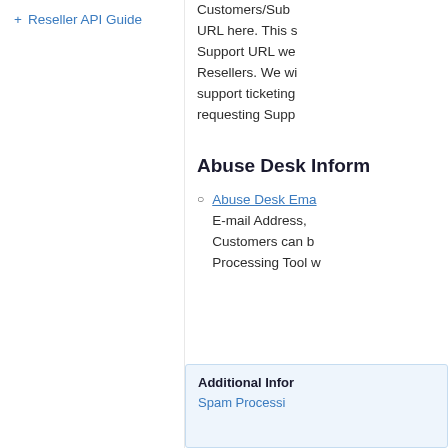+ Reseller API Guide
Customers/Sub URL here. This s Support URL we Resellers. We wi support ticketing requesting Supp
Abuse Desk Inform
Abuse Desk Ema E-mail Address, Customers can b Processing Tool w
Additional Infor Spam Processi